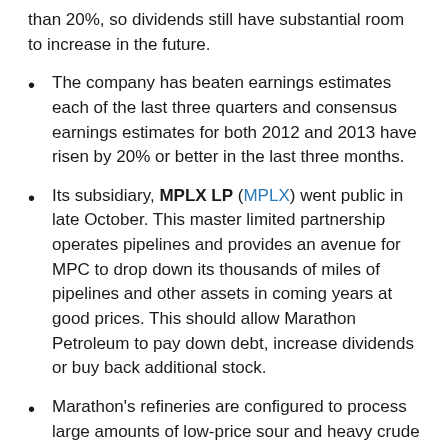than 20%, so dividends still have substantial room to increase in the future.
The company has beaten earnings estimates each of the last three quarters and consensus earnings estimates for both 2012 and 2013 have risen by 20% or better in the last three months.
Its subsidiary, MPLX LP (MPLX) went public in late October. This master limited partnership operates pipelines and provides an avenue for MPC to drop down its thousands of miles of pipelines and other assets in coming years at good prices. This should allow Marathon Petroleum to pay down debt, increase dividends or buy back additional stock.
Marathon's refineries are configured to process large amounts of low-price sour and heavy crude oils. More than half of its current capacity is in the Midwest, close to the lower-priced oil being produced in the